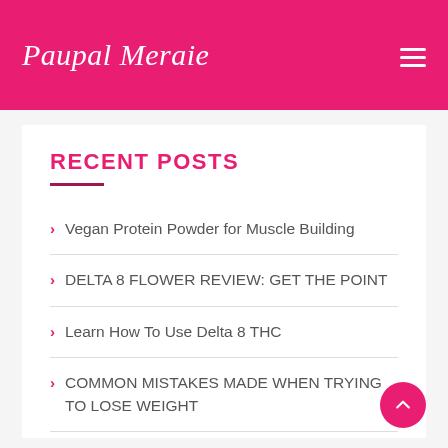Paupal Meraie
RECENT POSTS
Vegan Protein Powder for Muscle Building
DELTA 8 FLOWER REVIEW: GET THE POINT
Learn How To Use Delta 8 THC
COMMON MISTAKES MADE WHEN TRYING TO LOSE WEIGHT
Purpose of a Family Lawyer